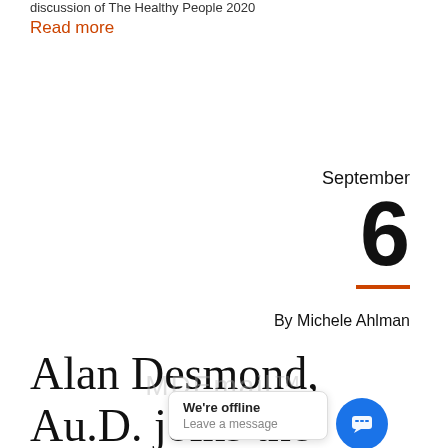discussion of The Healthy People 2020
Read more
September
6
By Michele Ahlman
Alan Desmond, Au.D. joins the Contributor Panel
[Figure (other): MDEmail watermark overlay and chat widget with 'We're offline / Leave a message' toast notification]